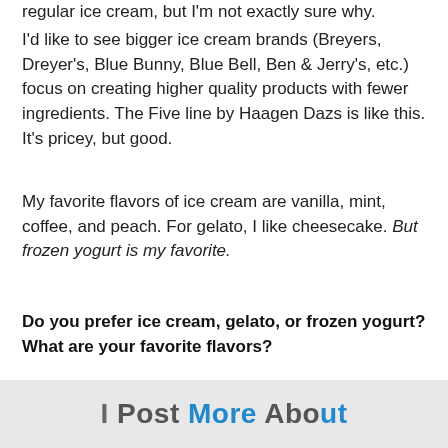regular ice cream, but I'm not exactly sure why.
I'd like to see bigger ice cream brands (Breyers, Dreyer's, Blue Bunny, Blue Bell, Ben & Jerry's, etc.) focus on creating higher quality products with fewer ingredients. The Five line by Haagen Dazs is like this. It's pricey, but good.
My favorite flavors of ice cream are vanilla, mint, coffee, and peach. For gelato, I like cheesecake. But frozen yogurt is my favorite.
Do you prefer ice cream, gelato, or frozen yogurt? What are your favorite flavors?
[Figure (other): Partial footer banner with text partially visible, appears to be a blog or website navigation element with blue and gray text]